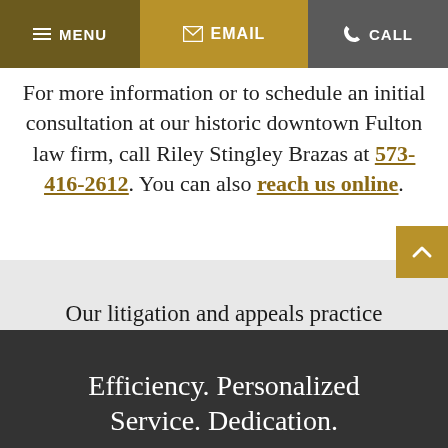MENU | EMAIL | CALL
For more information or to schedule an initial consultation at our historic downtown Fulton law firm, call Riley Stingley Brazas at 573-416-2612. You can also reach us online.
Our litigation and appeals practice continues to grow through attorney and client referrals.
Efficiency. Personalized Service. Dedication.